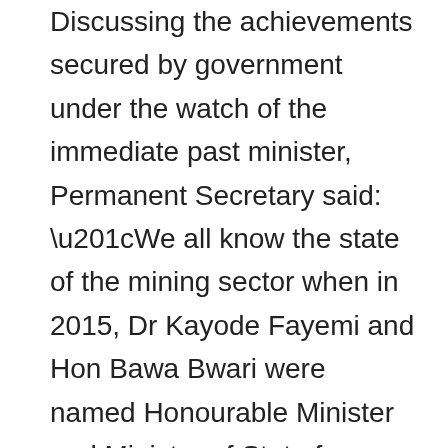Discussing the achievements secured by government under the watch of the immediate past minister, Permanent Secretary said: “We all know the state of the mining sector when in 2015, Dr Kayode Fayemi and Hon Bawa Bwari were named Honourable Minister and Minister of State for Mines and Steel respectively, and we are witnesses to the harvests of change and development which their leadership has earned the mining sector.’
‘In terms of all the criteria you can think of, the